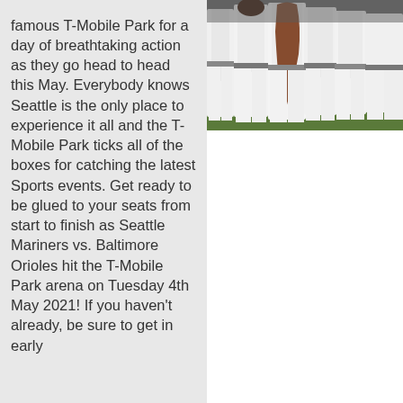famous T-Mobile Park for a day of breathtaking action as they go head to head this May. Everybody knows Seattle is the only place to experience it all and the T-Mobile Park ticks all of the boxes for catching the latest Sports events. Get ready to be glued to your seats from start to finish as Seattle Mariners vs. Baltimore Orioles hit the T-Mobile Park arena on Tuesday 4th May 2021! If you haven't already, be sure to get in early
[Figure (photo): Photo of baseball players in white uniforms standing together, partial view showing legs and lower torsos]